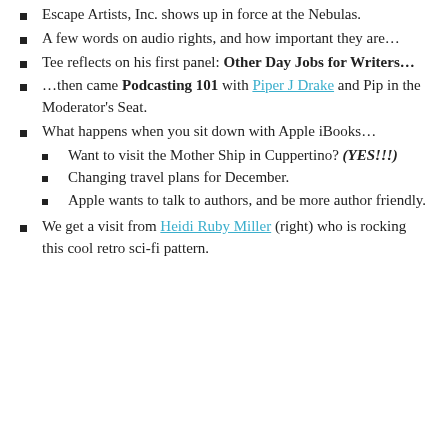Escape Artists, Inc. shows up in force at the Nebulas.
A few words on audio rights, and how important they are…
Tee reflects on his first panel: Other Day Jobs for Writers…
…then came Podcasting 101 with Piper J Drake and Pip in the Moderator's Seat.
What happens when you sit down with Apple iBooks…
Want to visit the Mother Ship in Cuppertino? (YES!!!)
Changing travel plans for December.
Apple wants to talk to authors, and be more author friendly.
We get a visit from Heidi Ruby Miller (right) who is rocking this cool retro sci-fi pattern.